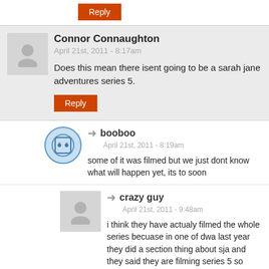Reply
Connor Connaughton
April 21st, 2011 - 8:17am
Does this mean there isent going to be a sarah jane adventures series 5.
Reply
booboo
April 21st, 2011 - 8:19am
some of it was filmed but we just dont know what will happen yet, its to soon
crazy guy
April 21st, 2011 - 9:48am
i think they have actualy filmed the whole series becuase in one of dwa last year they did a section thing about sja and they said they are filming series 5 so hopefuly they have and decided to show it to us – rest in peace liz